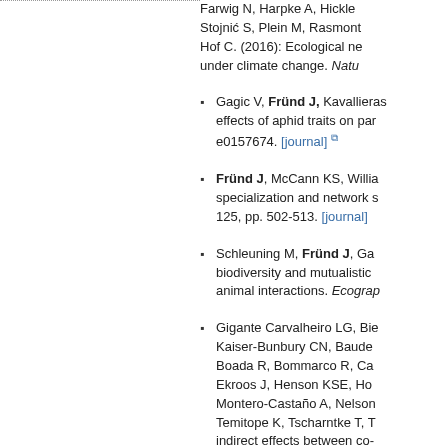Farwig N, Harpke A, Hickler... Stojnić S, Plein M, Rasmont... Hof C. (2016): Ecological ne... under climate change. Natu...
Gagic V, Fründ J, Kavallieras... effects of aphid traits on par... e0157674. [journal]
Fründ J, McCann KS, Willia... specialization and network s... 125, pp. 502-513. [journal]
Schleuning M, Fründ J, Ga... biodiversity and mutualistic ... animal interactions. Ecograp...
Gigante Carvalheiro LG, Bie... Kaiser-Bunbury CN, Baude... Boada R, Bommarco R, Ca... Ekroos J, Henson KSE, Ho... Montero-Castaño A, Nelson... Temitope K, Tscharntke T, T... indirect effects between co-... abundance, accessibility an... [journal]